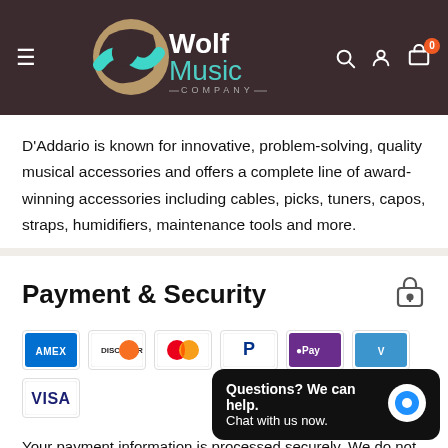[Figure (screenshot): Wolf Music Company website header with logo, hamburger menu, search icon, account icon, and cart icon with 0 badge on dark brown background]
D'Addario is known for innovative, problem-solving, quality musical accessories and offers a complete line of award-winning accessories including cables, picks, tuners, capos, straps, humidifiers, maintenance tools and more.
Payment & Security
[Figure (other): Payment method icons: American Express, Discover, Mastercard, PayPal, Apple Pay, Venmo, Visa]
Your payment information is processed securely. We do not store credit card details nor have access to
[Figure (other): Chat widget: Questions? We can help. Chat with us now.]